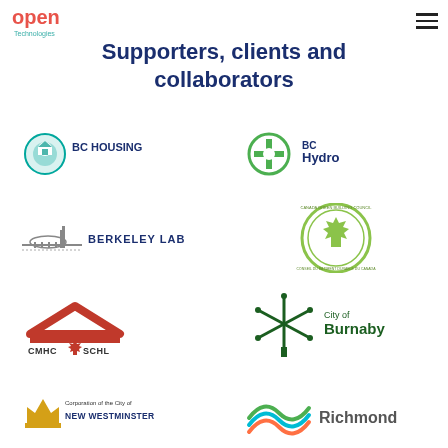[Figure (logo): Open Technologies logo - top left]
Supporters, clients and collaborators
[Figure (logo): BC Housing logo]
[Figure (logo): BC Hydro logo]
[Figure (logo): Berkeley Lab logo]
[Figure (logo): Canada Green Building Council logo]
[Figure (logo): CMHC SCHL logo]
[Figure (logo): City of Burnaby logo]
[Figure (logo): Corporation of the City of New Westminster logo]
[Figure (logo): City of Richmond logo]